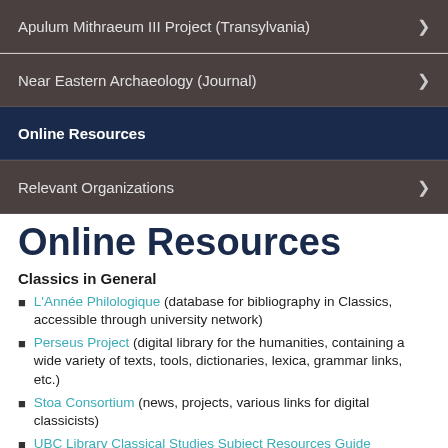Apulum Mithraeum III Project (Transylvania)
Near Eastern Archaeology (Journal)
Online Resources
Relevant Organizations
Online Resources
Classics in General
L'Année Philologique (database for bibliography in Classics, accessible through university network)
Perseus Project (digital library for the humanities, containing a wide variety of texts, tools, dictionaries, lexica, grammar links, etc.)
Stoa Consortium (news, projects, various links for digital classicists)
UBC Library Classical Studies Subject Resources Guide
VROMA (virtual Classics community)